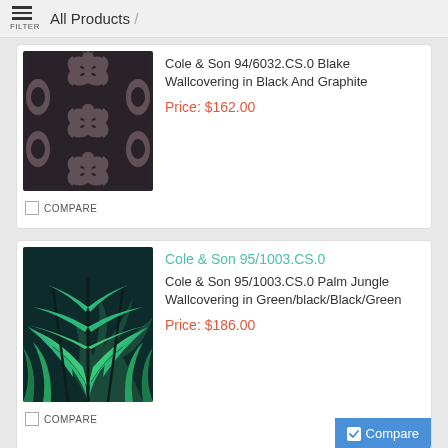All Products /
[Figure (photo): Dark damask patterned wallpaper in black and graphite tones]
Cole & Son 94/6032.CS.0 Blake Wallcovering in Black And Graphite
Price: $162.00
COMPARE
[Figure (photo): Tropical palm jungle wallcovering in green and black tones]
Cole & Son 95/1003.CS.0
Cole & Son 95/1003.CS.0 Palm Jungle Wallcovering in Green/black/Black/Green
Price: $186.00
COMPARE
[Figure (photo): Partial view of a tree pattern wallcovering]
Cole & Son 95/5031.CS.0